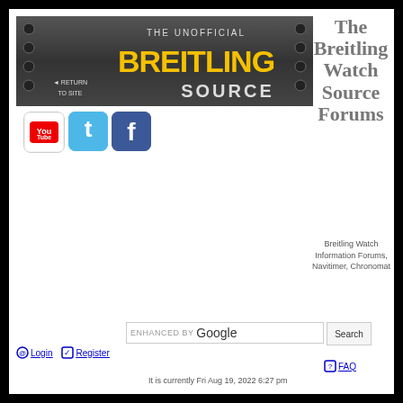[Figure (screenshot): Breitling Source banner with 'THE UNOFFICIAL BREITLING SOURCE' and 'RETURN TO SITE' text on dark metal background]
[Figure (logo): YouTube, Twitter, and Facebook social media icons]
The Breitling Watch Source Forums
Breitling Watch Information Forums, Navitimer, Chronomat
ENHANCED BY Google
Login
Register
FAQ
It is currently Fri Aug 19, 2022 6:27 pm